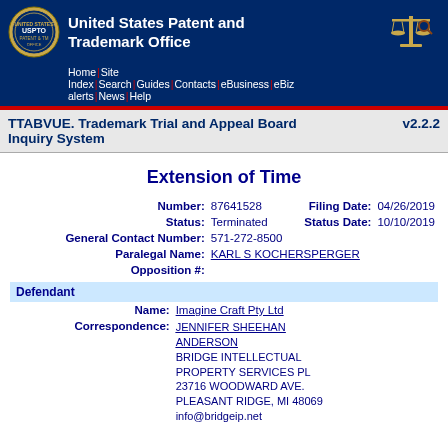United States Patent and Trademark Office
TTABVUE. Trademark Trial and Appeal Board Inquiry System v2.2.2
Extension of Time
| Number: | 87641528 | Filing Date: | 04/26/2019 |
| Status: | Terminated | Status Date: | 10/10/2019 |
| General Contact Number: | 571-272-8500 |  |  |
| Paralegal Name: | KARL S KOCHERSPERGER |  |  |
| Opposition #: |  |  |  |
Defendant
| Name: | Imagine Craft Pty Ltd |
| Correspondence: | JENNIFER SHEEHAN ANDERSON
BRIDGE INTELLECTUAL PROPERTY SERVICES PL
23716 WOODWARD AVE.
PLEASANT RIDGE, MI 48069
info@bridgeip.net |